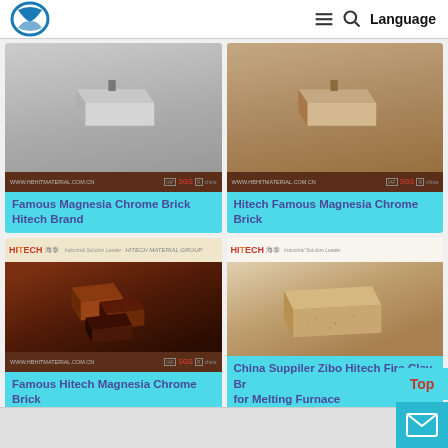HITECH Material Group website header with logo, hamburger menu, search icon, Language button
[Figure (photo): Grey metal/magnesia chrome brick product image with Hitech branding and SGS certification bar]
Famous Magnesia Chrome Brick Hitech Brand
[Figure (photo): Tan/brown magnesia chrome brick product image with Hitech branding and SGS certification bar]
Hitech Famous Magnesia Chrome Brick
[Figure (photo): Three dark brown/black magnesia chrome bricks with HITECH MATERIAL GROUP banner and SGS certification]
Famous Hitech Magnesia Chrome Brick
[Figure (photo): Large tan/yellow fire clay brick for melting furnace with HITECH branding]
China Suppiler Zibo Hitech Fire Clay Brick for Melting Furnace